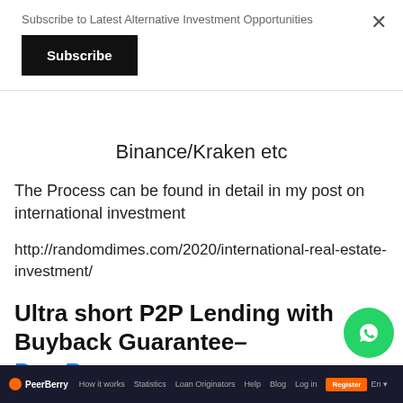Subscribe to Latest Alternative Investment Opportunities
Subscribe
Binance/Kraken etc
The Process can be found in detail in my post on international investment
http://randomdimes.com/2020/international-real-estate-investment/
Ultra short P2P Lending with Buyback Guarantee– PeerBerry
[Figure (screenshot): PeerBerry website navigation bar with logo, menu items (How it works, Statistics, Loan Originators, Help, Blog, Log in) and Register button, dark background]